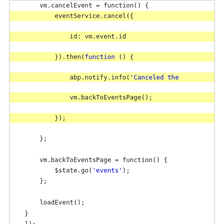[Figure (screenshot): Code block showing JavaScript with highlighted lines: vm.cancelEvent function with eventService.cancel, .then callback with abp.notify.info and vm.backToEventsPage, followed by vm.backToEventsPage function with $state.go('events'), and loadEvent() call.]
We simply use event application service to perform actions.
Main Menu